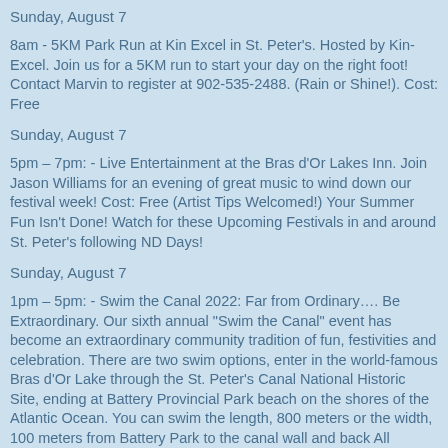Sunday, August 7
8am - 5KM Park Run at Kin Excel in St. Peter’s. Hosted by Kin-Excel. Join us for a 5KM run to start your day on the right foot! Contact Marvin to register at 902-535-2488. (Rain or Shine!). Cost: Free
Sunday, August 7
5pm – 7pm: - Live Entertainment at the Bras d’Or Lakes Inn. Join Jason Williams for an evening of great music to wind down our festival week! Cost: Free (Artist Tips Welcomed!) Your Summer Fun Isn’t Done! Watch for these Upcoming Festivals in and around St. Peter’s following ND Days!
Sunday, August 7
1pm – 5pm: - Swim the Canal 2022: Far from Ordinary…. Be Extraordinary. Our sixth annual “Swim the Canal” event has become an extraordinary community tradition of fun, festivities and celebration. There are two swim options, enter in the world-famous Bras d’Or Lake through the St. Peter’s Canal National Historic Site, ending at Battery Provincial Park beach on the shores of the Atlantic Ocean. You can swim the length, 800 meters or the width, 100 meters from Battery Park to the canal wall and back All swimmers receive a commemorated “Swim the Canal” medal and are acknowledged at the